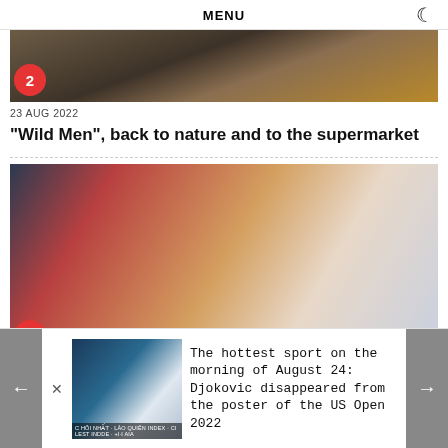MENU
[Figure (photo): Partial view of a dramatic scene with people, numbered badge 2]
23 AUG 2022
“Wild Men”, back to nature and to the supermarket
[Figure (photo): A man in a floral shirt getting a medical injection/blood draw, numbered badge 3]
23 AUG 2022
[Figure (photo): Djokovic tennis player promotional thumbnail]
The hottest sport on the morning of August 24: Djokovic disappeared from the poster of the US Open 2022